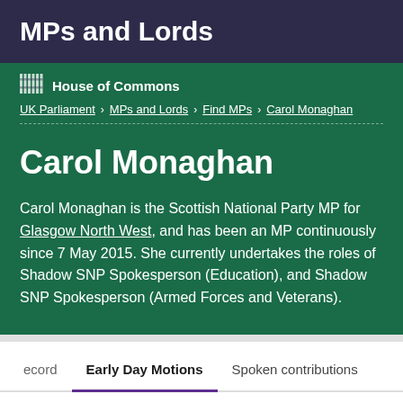MPs and Lords
House of Commons
UK Parliament > MPs and Lords > Find MPs > Carol Monaghan
Carol Monaghan
Carol Monaghan is the Scottish National Party MP for Glasgow North West, and has been an MP continuously since 7 May 2015. She currently undertakes the roles of Shadow SNP Spokesperson (Education), and Shadow SNP Spokesperson (Armed Forces and Veterans).
ecord | Early Day Motions | Spoken contributions